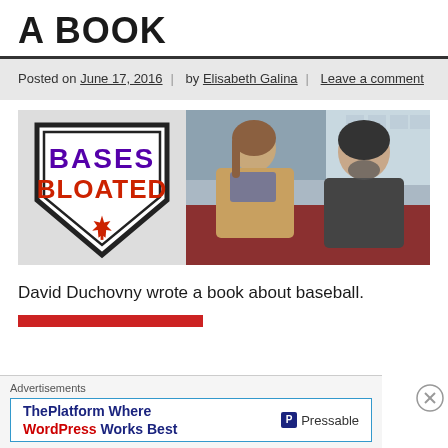A BOOK
Posted on June 17, 2016 | by Elisabeth Galina | Leave a comment
[Figure (logo): Bases Bloated baseball home plate shaped logo with red maple leaf]
[Figure (photo): Two people sitting on a subway/tube train, a woman and a man]
David Duchovny wrote a book about baseball.
Advertisements
ThePlatform Where WordPress Works Best — Pressable advertisement